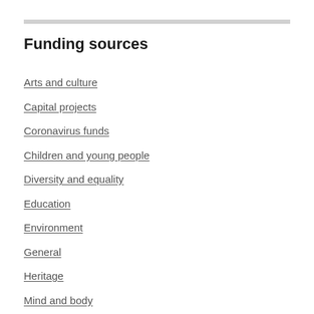Funding sources
Arts and culture
Capital projects
Coronavirus funds
Children and young people
Diversity and equality
Education
Environment
General
Heritage
Mind and body
Small grants
Social issues